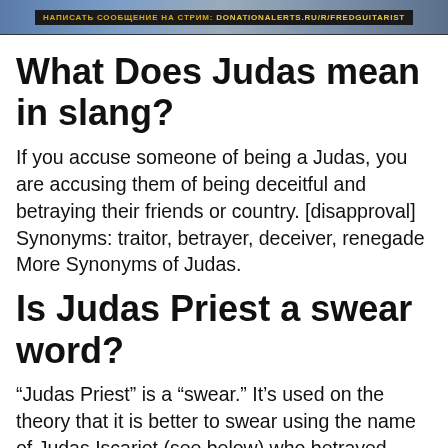[Figure (screenshot): Stream banner header with Cyrillic text and donation link: НАПИСАТЬ СООБЩЕНИЕ НА СТРИМ: DONATIONALERTS.RU/R/FREDGUITARIST]
What Does Judas mean in slang?
If you accuse someone of being a Judas, you are accusing them of being deceitful and betraying their friends or country. [disapproval] Synonyms: traitor, betrayer, deceiver, renegade More Synonyms of Judas.
Is Judas Priest a swear word?
“Judas Priest” is a “swear.” It’s used on the theory that it is better to swear using the name of Judas Iscariot (see below) who betrayed Jesus rather than saying “Jesus Christ,” taking the Lord’s name in vain.